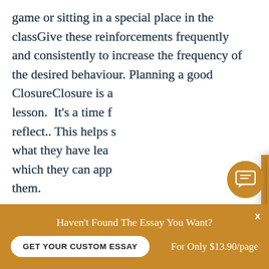game or sitting in a special place in the classGive these reinforcements frequently and consistently to increase the frequency of the desired behaviour. Planning a good ClosureClosure is a... lesson. It's a time f... reflect.. This helps s... what they have lea... which they can app... them.
[Figure (screenshot): Chat popup widget with orange header showing avatar of a man and text 'Hi! I'm Owen!', body with text 'Would you like to get a custom essay? How about receiving a customized one?' and a 'Check it out' link]
A strong closure ca... retain information beyond the immediate...
[Figure (other): Orange circular chat icon button with message bubble icon]
Haven't Found The Essay You Want?
GET YOUR CUSTOM ESSAY    For Only $13.90/page